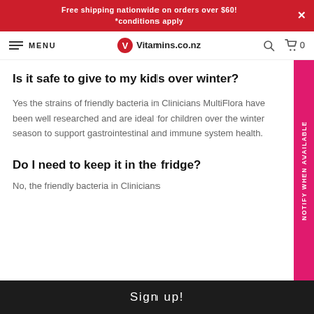Free shipping nationwide on orders over $60! *conditions apply
MENU | Vitamins.co.nz
Is it safe to give to my kids over winter?
Yes the strains of friendly bacteria in Clinicians MultiFlora have been well researched and are ideal for children over the winter season to support gastrointestinal and immune system health.
Do I need to keep it in the fridge?
No, the friendly bacteria in Clinicians
Sign up!